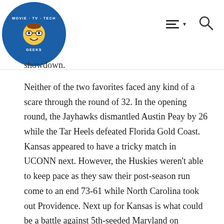Movie TV Tech Geeks [logo with navigation hamburger menu and search icon]
showdown.
Neither of the two favorites faced any kind of a scare through the round of 32. In the opening round, the Jayhawks dismantled Austin Peay by 26 while the Tar Heels defeated Florida Gold Coast. Kansas appeared to have a tricky match in UCONN next. However, the Huskies weren't able to keep pace as they saw their post-season run come to an end 73-61 while North Carolina took out Providence. Next up for Kansas is what could be a battle against 5th-seeded Maryland on Thursday while the Tar Heels will prepare for Indiana on Friday.
Virginia and Oregon, the top seeds in the Midwest and West respectively, also advanced. Oregon was the No. 1 that faced the most trouble as they only handled Saint Joe's by 5. Next up for the Ducks are the Duke Blue Devils in a game that could very well end Oregon's